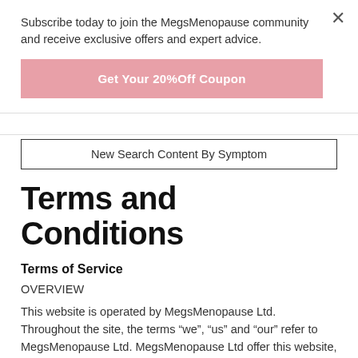Subscribe today to join the MegsMenopause community and receive exclusive offers and expert advice.
Get Your 20%Off Coupon
New Search Content By Symptom
Terms and Conditions
Terms of Service
OVERVIEW
This website is operated by MegsMenopause Ltd. Throughout the site, the terms “we”, “us” and “our” refer to MegsMenopause Ltd. MegsMenopause Ltd offer this website, including all information, tools and services available from this site to you, the user, conditioned upon